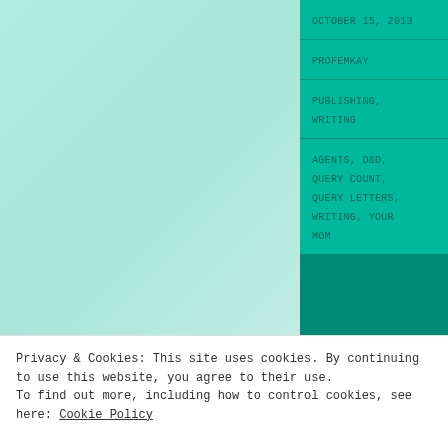[Figure (illustration): Light teal/mint gradient background panel on the left side of the page, and a darker teal right sidebar with metadata blocks]
OCTOBER 15, 2013
PROFEMKAY
PUBLISHING, WRITING
AGENTS, D&D, QUERY COUNT, QUERY LETTERS, WRITING, YOUR MOM
Privacy & Cookies: This site uses cookies. By continuing to use this website, you agree to their use. To find out more, including how to control cookies, see here: Cookie Policy
Close and accept